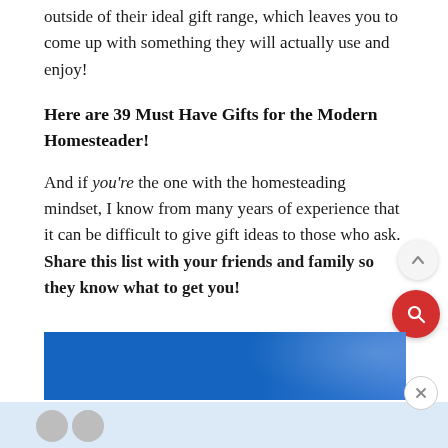outside of their ideal gift range, which leaves you to come up with something they will actually use and enjoy!
Here are 39 Must Have Gifts for the Modern Homesteader!
And if you're the one with the homesteading mindset, I know from many years of experience that it can be difficult to give gift ideas to those who ask. Share this list with your friends and family so they know what to get you!
[Figure (photo): Blue banner image at the bottom of the page, likely a homesteading-related photo with a blue sky or outdoors scene.]